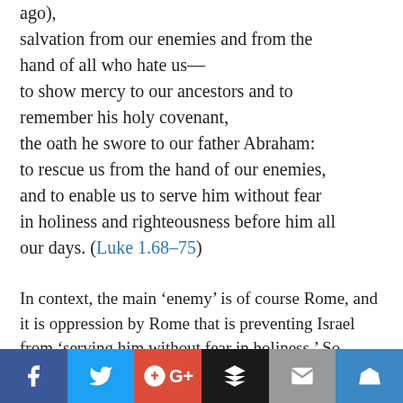ago),
salvation from our enemies and from the hand of all who hate us—
to show mercy to our ancestors and to remember his holy covenant,
the oath he swore to our father Abraham:
to rescue us from the hand of our enemies,
and to enable us to serve him without fear in holiness and righteousness before him all our days. (Luke 1.68–75)
In context, the main 'enemy' is of course Rome, and it is oppression by Rome that is preventing Israel from 'serving him without fear in holiness.' So implicit in